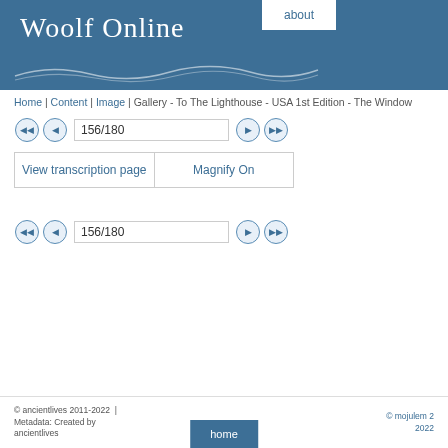[Figure (screenshot): Woolf Online website header with blue background, site title 'Woolf Online' in white serif font, decorative wave lines, and navigation button 'about' visible at top right]
Home | Content | Image | Gallery - To The Lighthouse - USA 1st Edition - The Window
156/180
View transcription page   Magnify On
156/180
© ancientlives 2011-2022 | Metadata: Created by ancientlives    home    © mojulem 2022